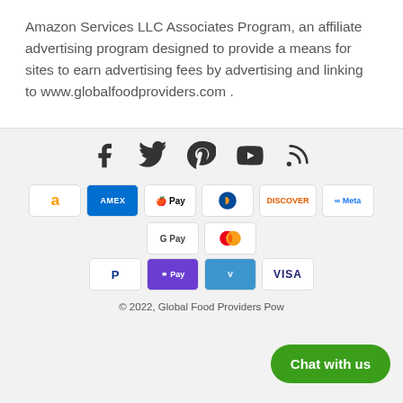Amazon Services LLC Associates Program, an affiliate advertising program designed to provide a means for sites to earn advertising fees by advertising and linking to www.globalfoodproviders.com .
[Figure (infographic): Social media icons: Facebook, Twitter, Pinterest, YouTube, RSS Feed]
[Figure (infographic): Payment method badges: Amazon, Amex, Apple Pay, Diners Club, Discover, Meta Pay, Google Pay, Mastercard, PayPal, OPay, Venmo, Visa]
© 2022, Global Food Providers Pow...